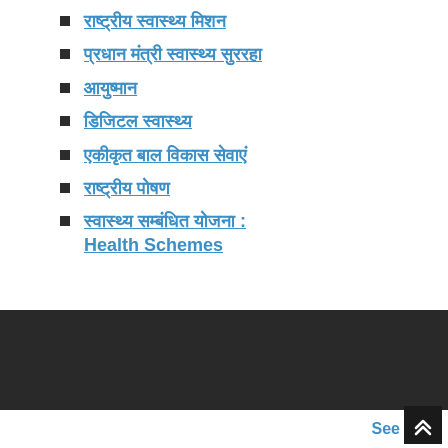राष्ट्रीय स्वास्थ्य मिशन
प्रधान मंत्री स्वास्थ्य सुरक्षा
आयुष्मान
डिजिटल स्वास्थ्य
एकीकृत बाल विकास सेवाएं
राष्ट्रीय पोषण
स्वास्थ्य सम्बंधित योजना : Health Schemes
See